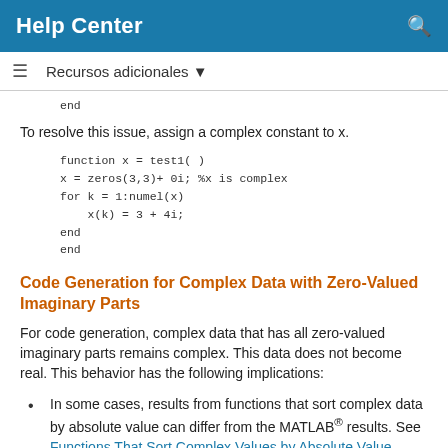Help Center
Recursos adicionales ▼
end
To resolve this issue, assign a complex constant to x.
function x = test1( )
x = zeros(3,3)+ 0i; %x is complex
for k = 1:numel(x)
    x(k) = 3 + 4i;
end
end
Code Generation for Complex Data with Zero-Valued Imaginary Parts
For code generation, complex data that has all zero-valued imaginary parts remains complex. This data does not become real. This behavior has the following implications:
In some cases, results from functions that sort complex data by absolute value can differ from the MATLAB® results. See Functions That Sort Complex Values by Absolute Value.